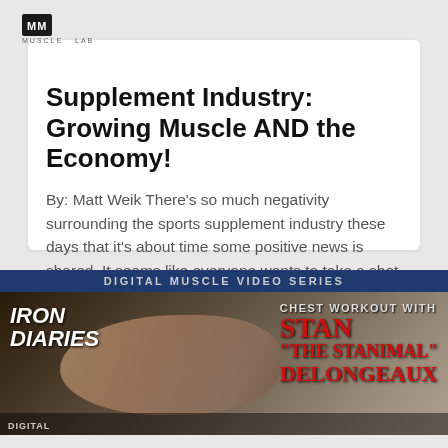[Figure (logo): Small dark logo box with white text, website name]
Supplement Industry: Growing Muscle AND the Economy!
By: Matt Weik There's so much negativity surrounding the sports supplement industry these days that it's about time some positive news is shared. It seems like everyone wants to take a shot at the dietary
READ MORE »
[Figure (photo): Banner advertisement for Digital Muscle Video Series: Iron Diaries – Chest Workout with Stan 'The Stanimal' DeLongeaux. Dark background with gym/workout imagery, blue top bar, red text for names.]